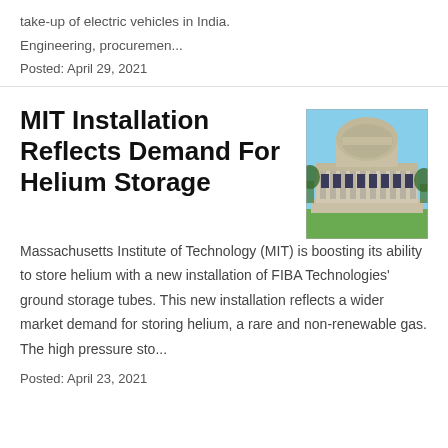take-up of electric vehicles in India.
Engineering, procuremen...
Posted: April 29, 2021
MIT Installation Reflects Demand For Helium Storage
[Figure (photo): Photograph of MIT's iconic domed building (Great Dome / Building 10) with classical columns and green lawn in the foreground against a blue sky.]
Massachusetts Institute of Technology (MIT) is boosting its ability to store helium with a new installation of FIBA Technologies' ground storage tubes. This new installation reflects a wider market demand for storing helium, a rare and non-renewable gas. The high pressure sto...
Posted: April 23, 2021